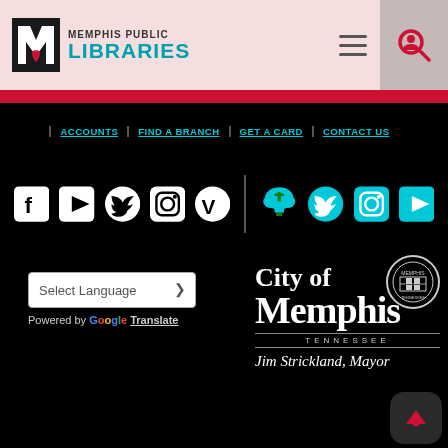[Figure (logo): Memphis Public Libraries logo with stylized M and teal LIBRARIES text]
[Figure (screenshot): Header hamburger menu and search icon buttons]
Memphis Public Libraries website header
ACCOUNTS
FIND A BRANCH
GET A CARD
CONTACT US
[Figure (infographic): Social media icons row: Facebook, YouTube, Twitter, Instagram, Vimeo, then a cloud/lightbulb icon group in teal, Twitter, Instagram, YouTube]
[Figure (screenshot): Language selector dropdown showing 'Select Language' with chevron, Powered by Google Translate]
[Figure (logo): City of Memphis Tennessee seal and wordmark with Jim Strickland Mayor]
[Figure (screenshot): Scroll to top button with arrow]